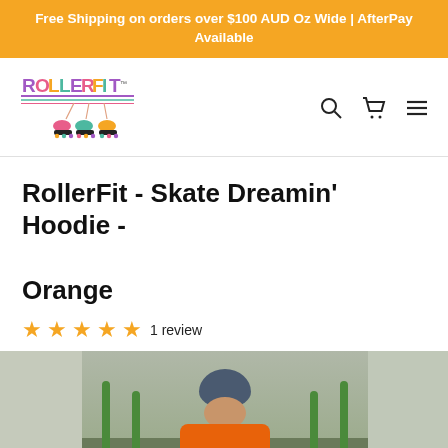Free Shipping on orders over $100 AUD Oz Wide | AfterPay Available
[Figure (logo): RollerFit logo with colorful text and hanging roller skates illustration]
RollerFit - Skate Dreamin' Hoodie - Orange
5 stars — 1 review
[Figure (photo): Woman wearing orange hoodie and blue beanie, smiling, standing near green outdoor gym equipment]